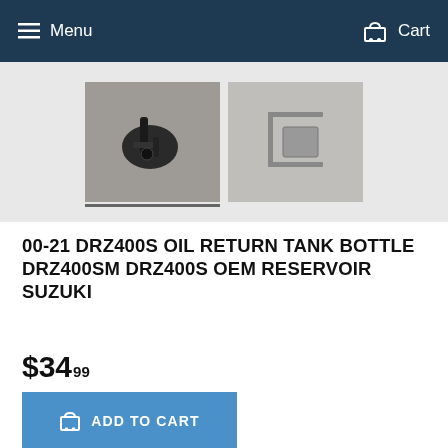Menu  Cart
[Figure (photo): Two product photos of the DRZ400S oil return tank bottle/reservoir part. Left photo shows a close-up of the metal fitting/connector. Right photo shows a metal bracket or plate.]
00-21 DRZ400S OIL RETURN TANK BOTTLE DRZ400SM DRZ400S OEM RESERVOIR SUZUKI
$34.99
ADD TO CART